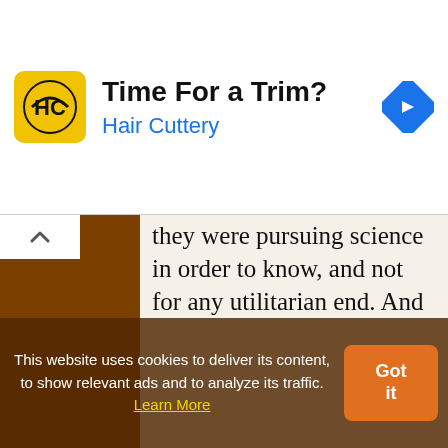[Figure (screenshot): Hair Cuttery advertisement banner with yellow logo showing 'HC', title 'Time For a Trim?', subtitle 'Hair Cuttery' in blue, and a blue directional arrow diamond icon on the right.]
they were pursuing science in order to know, and not for any utilitarian end. And this is confirmed by the facts; for it was when almost all the necessities of life and the things that make for comfort and recreation were present, that such knowledge began to be sought. Clearly then we do not seek it for the sake of any advantage; but as the man is free
This website uses cookies to deliver its content, to show relevant ads and to analyze its traffic. Learn More